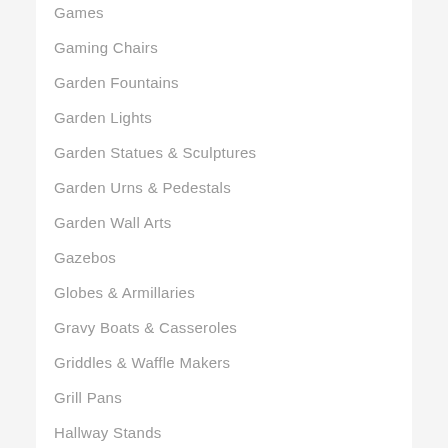Games
Gaming Chairs
Garden Fountains
Garden Lights
Garden Statues & Sculptures
Garden Urns & Pedestals
Garden Wall Arts
Gazebos
Globes & Armillaries
Gravy Boats & Casseroles
Griddles & Waffle Makers
Grill Pans
Hallway Stands
Hammocks
Heat Lamps